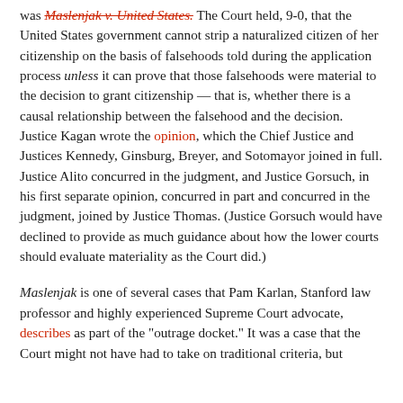was Maslenjak v. United States. The Court held, 9-0, that the United States government cannot strip a naturalized citizen of her citizenship on the basis of falsehoods told during the application process unless it can prove that those falsehoods were material to the decision to grant citizenship — that is, whether there is a causal relationship between the falsehood and the decision. Justice Kagan wrote the opinion, which the Chief Justice and Justices Kennedy, Ginsburg, Breyer, and Sotomayor joined in full. Justice Alito concurred in the judgment, and Justice Gorsuch, in his first separate opinion, concurred in part and concurred in the judgment, joined by Justice Thomas. (Justice Gorsuch would have declined to provide as much guidance about how the lower courts should evaluate materiality as the Court did.)
Maslenjak is one of several cases that Pam Karlan, Stanford law professor and highly experienced Supreme Court advocate, describes as part of the "outrage docket." It was a case that the Court might not have had to take on traditional criteria, but